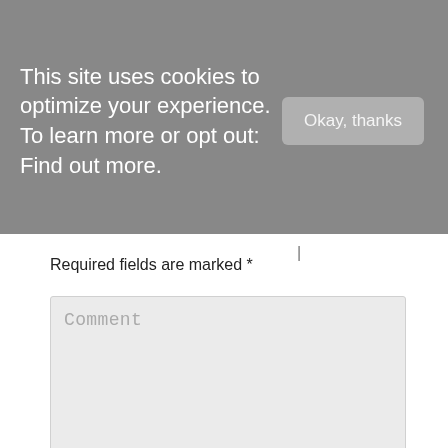This site uses cookies to optimize your experience. To learn more or opt out: Find out more.
Okay, thanks
Required fields are marked *
[Figure (other): Comment textarea input field with placeholder text 'Comment']
[Figure (other): Name text input field with placeholder text 'Name *']
[Figure (other): Email text input field, partially visible at bottom]